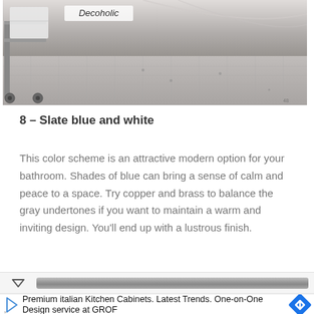[Figure (photo): Partial view of a bathroom or shower area with a metal cart/trolley on wheels on a gray tile floor. The Decoholic watermark is visible in the upper portion of the image.]
8 – Slate blue and white
This color scheme is an attractive modern option for your bathroom. Shades of blue can bring a sense of calm and peace to a space. Try copper and brass to balance the gray undertones if you want to maintain a warm and inviting design. You'll end up with a lustrous finish.
[Figure (screenshot): Browser scrollbar area with a chevron/down arrow on the left and a gray scroll track on the right.]
Premium italian Kitchen Cabinets. Latest Trends. One-on-One Design service at GROF